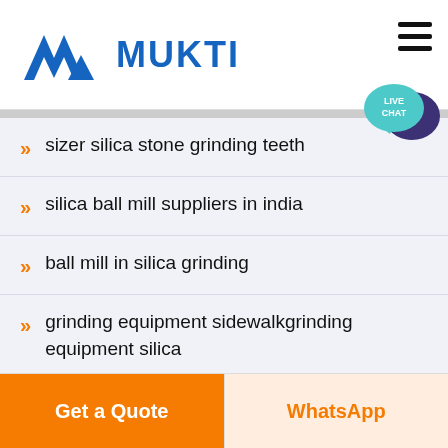[Figure (logo): Mukti company logo with blue triangular M shape and blue bold text MUKTI]
sizer silica stone grinding teeth
silica ball mill suppliers in india
ball mill in silica grinding
grinding equipment sidewalkgrinding equipment silica
balls grinding machines for silica sand